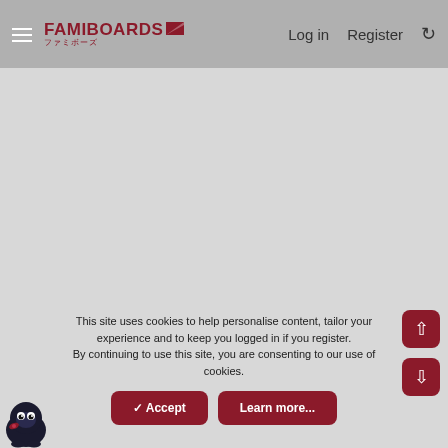FAMIBOARDS ファミボーズ  Log in  Register
[Figure (screenshot): Large blank grey content area, main body of the Famiboards forum page]
This site uses cookies to help personalise content, tailor your experience and to keep you logged in if you register.
By continuing to use this site, you are consenting to our use of cookies.
[Figure (other): Accept and Learn more buttons for cookie consent; scroll up and scroll down buttons; mascot character in bottom left corner]